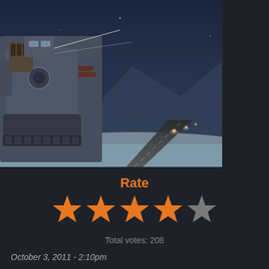[Figure (screenshot): Game screenshot showing a snowy winter battlefield scene with a large tracked military vehicle/mech on the left and a long straight road receding into misty mountains in the background with lights along the road.]
Rate
[Figure (infographic): 4 filled orange stars and 1 empty grey star rating display]
Total votes: 208
October 3, 2011 - 2:10pm
This is the full version 6.0 Nations at War Mod for Battlefield 2. This MOD has been developed to modify the original Battlefield 2 to make both sides even and add tons of new